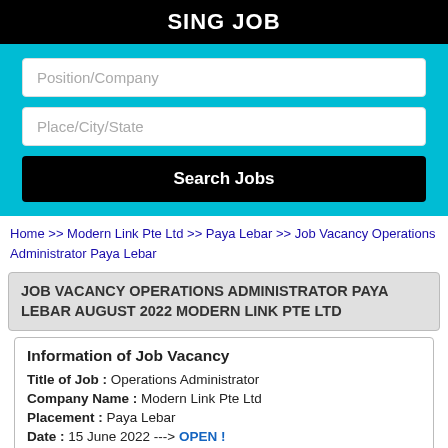SING JOB
[Figure (screenshot): Search bar UI with two input fields: Position/Company and Place/City/State, and a Search Jobs button on a cyan background]
Home >> Modern Link Pte Ltd >> Paya Lebar >> Job Vacancy Operations Administrator Paya Lebar
JOB VACANCY OPERATIONS ADMINISTRATOR PAYA LEBAR AUGUST 2022 MODERN LINK PTE LTD
Information of Job Vacancy
Title of Job : Operations Administrator
Company Name : Modern Link Pte Ltd
Placement : Paya Lebar
Date : 15 June 2022 ---> OPEN !
Expired : No